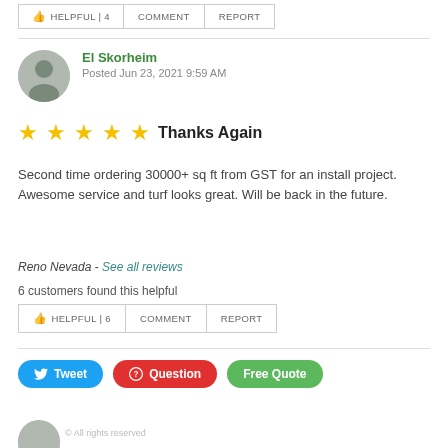👍 HELPFUL | 4   COMMENT   REPORT
El Skorheim
Posted Jun 23, 2021 9:59 AM
⭐⭐⭐⭐⭐ Thanks Again
Second time ordering 30000+ sq ft from GST for an install project. Awesome service and turf looks great. Will be back in the future.
Reno Nevada - See all reviews
6 customers found this helpful
👍 HELPFUL | 6   COMMENT   REPORT
Tweet   Question   Free Quote